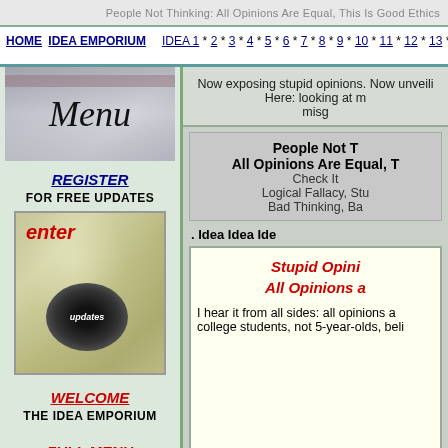People Not Thinking: All Opinions Are Equal, This Is Good Ethics
HOME  IDEA EMPORIUM  IDEA 1 * 2 * 3 * 4 * 5 * 6 * 7 * 8 * 9 * 10 * 11 *12 * 13 * 14 * 1
[Figure (photo): Glass marble or sphere image with 'Menu' text in italic script]
REGISTER FOR FREE UPDATES
[Figure (photo): Enter updates button image with red 'enter' text and dark circular button]
WELCOME THE IDEA EMPORIUM
FULL MENU
Now exposing stupid opinions. Now unveiling Here: looking at m misg
People Not T All Opinions Are Equal, T Check It Logical Fallacy, Stu Bad Thinking, Ba
. Idea Idea Ide
Stupid Opini All Opinions a
I hear it from all sides: all opinions a college students, not 5-year-olds, beli